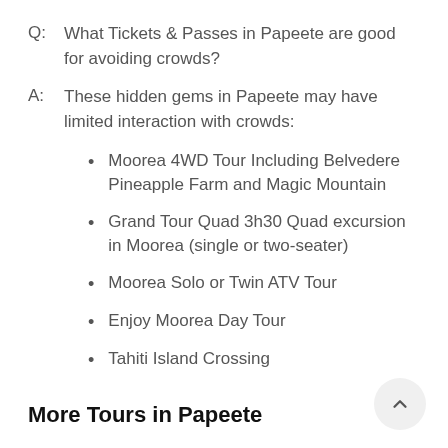Q:  What Tickets & Passes in Papeete are good for avoiding crowds?
A:  These hidden gems in Papeete may have limited interaction with crowds:
Moorea 4WD Tour Including Belvedere Pineapple Farm and Magic Mountain
Grand Tour Quad 3h30 Quad excursion in Moorea (single or two-seater)
Moorea Solo or Twin ATV Tour
Enjoy Moorea Day Tour
Tahiti Island Crossing
More Tours in Papeete